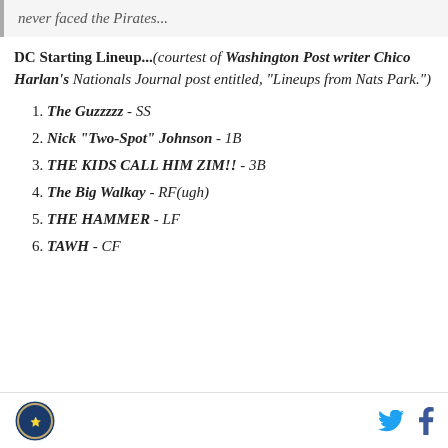never faced the Pirates...
DC Starting Lineup...(courtest of Washington Post writer Chico Harlan's Nationals Journal post entitled, "Lineups from Nats Park.")
1. The Guzzzzz - SS
2. Nick "Two-Spot" Johnson - 1B
3. THE KIDS CALL HIM ZIM!! - 3B
4. The Big Walkay - RF(ugh)
5. THE HAMMER - LF
6. TAWH - CF
Logo, Twitter, Facebook icons